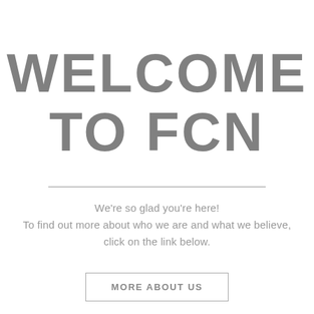WELCOME TO FCN
We're so glad you're here!
To find out more about who we are and what we believe, click on the link below.
MORE ABOUT US